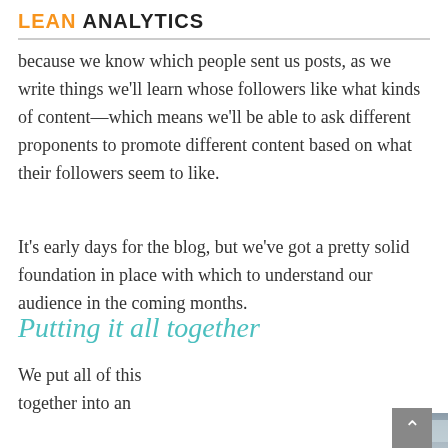LEAN ANALYTICS
because we know which people sent us posts, as we write things we'll learn whose followers like what kinds of content—which means we'll be able to ask different proponents to promote different content based on what their followers seem to like.
It's early days for the blog, but we've got a pretty solid foundation in place with which to understand our audience in the coming months.
Putting it all together
We put all of this together into an
[Figure (screenshot): Screenshot of a slide or presentation titled 'THE ANATOMY OF A LONG FUNNEL — The launch of the Lean Analytics website' with a dark grey background and blurred content below.]